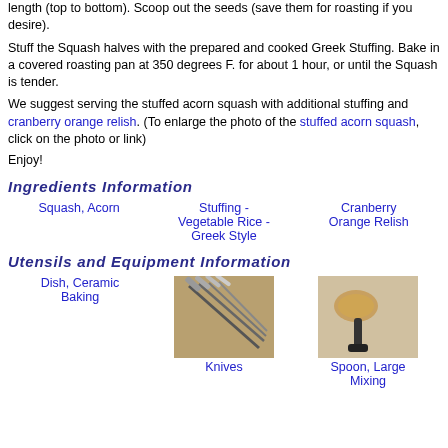length (top to bottom).  Scoop out the seeds (save them for roasting if you desire).
Stuff the Squash halves with the prepared and cooked Greek Stuffing.  Bake in a covered roasting pan at 350 degrees F. for about 1 hour, or until the Squash is tender.
We suggest serving the stuffed acorn squash with additional stuffing and cranberry orange relish.  (To enlarge the photo of the stuffed acorn squash, click on the photo or link)
Enjoy!
Ingredients Information
Squash, Acorn
Stuffing - Vegetable Rice - Greek Style
Cranberry Orange Relish
Utensils and Equipment Information
Dish, Ceramic Baking
[Figure (photo): Photo of knives]
Knives
[Figure (photo): Photo of a large mixing spoon]
Spoon, Large Mixing